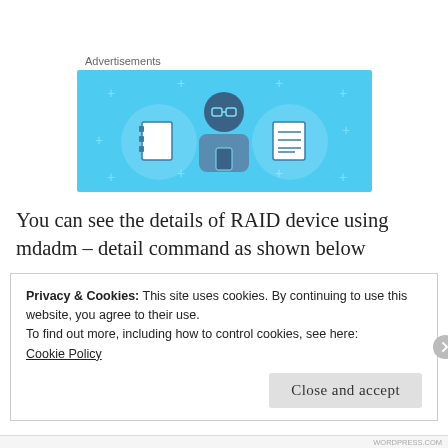Advertisements
[Figure (illustration): Advertisement banner with light blue background showing a cartoon person holding a phone, flanked by two circular icons: a notebook on the left and a lined document on the right. Small plus/cross decorations scattered in the background.]
You can see the details of RAID device using mdadm – detail command as shown below
Privacy & Cookies: This site uses cookies. By continuing to use this website, you agree to their use.
To find out more, including how to control cookies, see here:
Cookie Policy
Close and accept